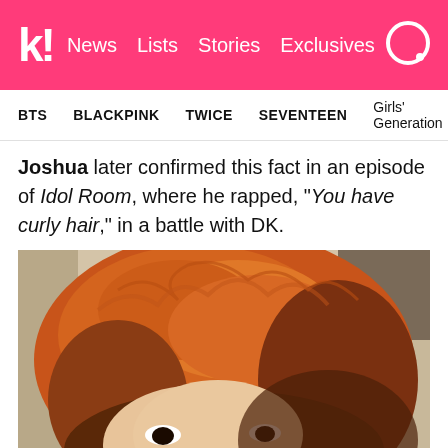k! News Lists Stories Exclusives
BTS  BLACKPINK  TWICE  SEVENTEEN  Girls' Generation
Joshua later confirmed this fact in an episode of Idol Room, where he rapped, "You have curly hair," in a battle with DK.
[Figure (photo): Close-up selfie of a young man with voluminous, reddish-orange curly hair, eyes partially visible, taken in a room with a beige ceiling. The photo is taken from above at an angle.]